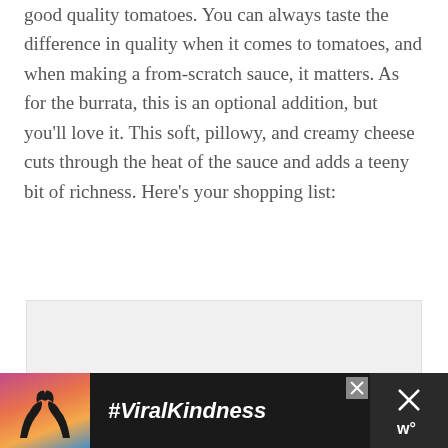good quality tomatoes. You can always taste the difference in quality when it comes to tomatoes, and when making a from-scratch sauce, it matters. As for the burrata, this is an optional addition, but you'll love it. This soft, pillowy, and creamy cheese cuts through the heat of the sauce and adds a teeny bit of richness. Here's your shopping list:
[Figure (other): Light gray rectangular advertisement placeholder box]
[Figure (other): Advertisement banner with dark background showing silhouette of hands forming heart shape against sunset sky, with #ViralKindness text and close button]